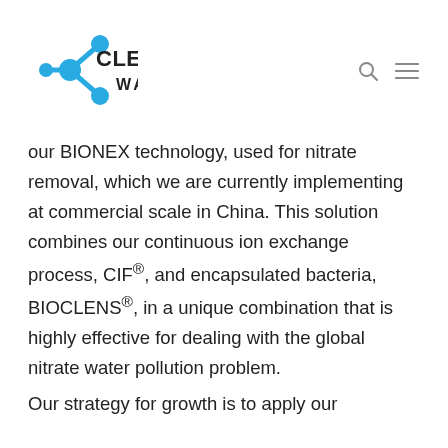[Figure (logo): Clean Teq Water logo with blue molecular/water droplet icon and bold text CLEANTEQ WATER]
our BIONEX technology, used for nitrate removal, which we are currently implementing at commercial scale in China. This solution combines our continuous ion exchange process, CIF®, and encapsulated bacteria, BIOCLENS®, in a unique combination that is highly effective for dealing with the global nitrate water pollution problem.
Our strategy for growth is to apply our